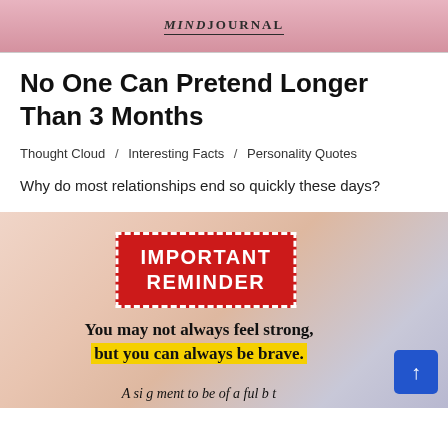MINDJOURNAL
No One Can Pretend Longer Than 3 Months
Thought Cloud  /  Interesting Facts  /  Personality Quotes
Why do most relationships end so quickly these days?
[Figure (illustration): Motivational image with a red stamp reading IMPORTANT REMINDER and yellow-highlighted text: You may not always feel strong, but you can always be brave. Textured beige/pink background with blue scroll-to-top button.]